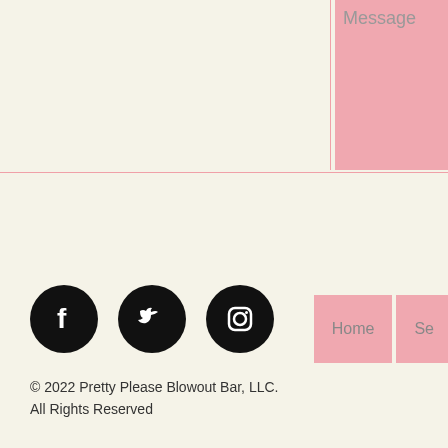[Figure (screenshot): Partial web form with a pink Message textarea on the right, separated by a pink vertical line. A pink horizontal divider runs across the page.]
[Figure (infographic): Three social media icons (Facebook, Twitter, Instagram) as black circles with white logos, and two pink navigation buttons (Home, Se...) on the right.]
© 2022 Pretty Please Blowout Bar, LLC.
All Rights Reserved